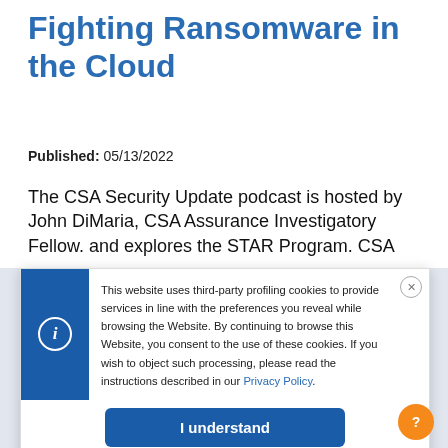Fighting Ransomware in the Cloud
Published: 05/13/2022
The CSA Security Update podcast is hosted by John DiMaria, CSA Assurance Investigatory Fellow. and explores the STAR Program. CSA
This website uses third-party profiling cookies to provide services in line with the preferences you reveal while browsing the Website. By continuing to browse this Website, you consent to the use of these cookies. If you wish to object such processing, please read the instructions described in our Privacy Policy.
I understand